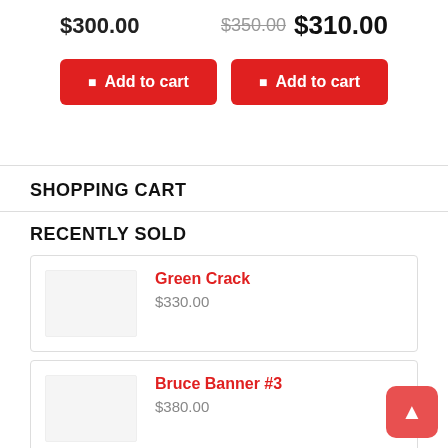$300.00
$350.00 $310.00
Add to cart
Add to cart
SHOPPING CART
RECENTLY SOLD
Green Crack
$330.00
Bruce Banner #3
$380.00